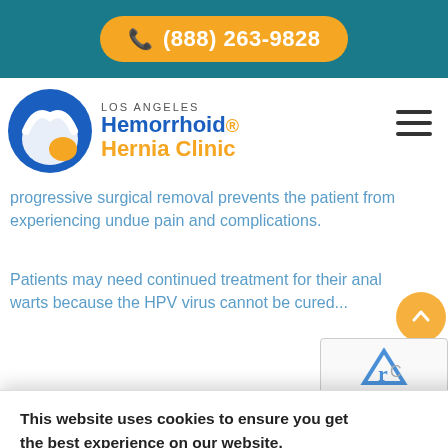(888) 263-9828
[Figure (logo): Los Angeles Hemorrhoid & Hernia Clinic logo with blue and orange circle icon]
progressive surgical removal prevents the patient from experiencing undue pain and complications.
Patients may need continued treatment for their anal warts because the HPV virus cannot be cured...will
This website uses cookies to ensure you get the best experience on our website.
Learn more
Accept
doctors will caution them t